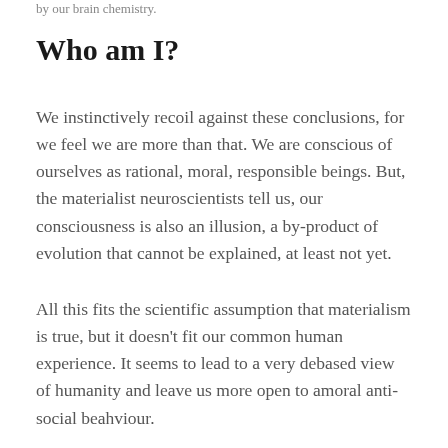by our brain chemistry.
Who am I?
We instinctively recoil against these conclusions, for we feel we are more than that. We are conscious of ourselves as rational, moral, responsible beings. But, the materialist neuroscientists tell us, our consciousness is also an illusion, a by-product of evolution that cannot be explained, at least not yet.
All this fits the scientific assumption that materialism is true, but it doesn't fit our common human experience. It seems to lead to a very debased view of humanity and leave us more open to amoral anti-social beahviour.